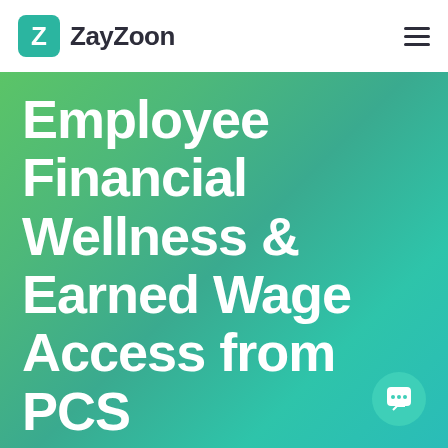ZayZoon
Employee Financial Wellness & Earned Wage Access from PCS